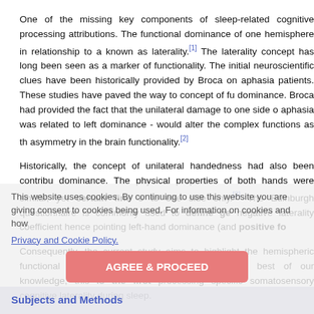One of the missing key components of sleep-related cognitive processing attributions. The functional dominance of one hemisphere in relationship to a known as laterality.[1] The laterality concept has long been seen as a marker of functionality. The initial neuroscientific clues have been historically provided by Broca on aphasia patients. These studies have paved the way to concept of functional dominance. Broca had provided the fact that the unilateral damage to one side of aphasia was related to left dominance - would alter the complex functions as the asymmetry in the brain functionality.[2]
Historically, the concept of unilateral handedness had also been contributing to dominance. The physical properties of both hands were similar, yet certain fine skills to one side only.[3] The Edinburgh questionnaire is commonly used to define gestural negative laterality coefficient hence pointing left-hand dominance (and positive for right). Consequently, the current study aims to highlight the hemispheric functional nonpainful tactile stimulations. To the best of our knowledge, this is the first processing specific somatosensory cognitive laterality during sleep.
This website uses cookies. By continuing to use this website you are giving consent to cookies being used. For information on cookies and how
Privacy and Cookie Policy.
Subjects and Methods